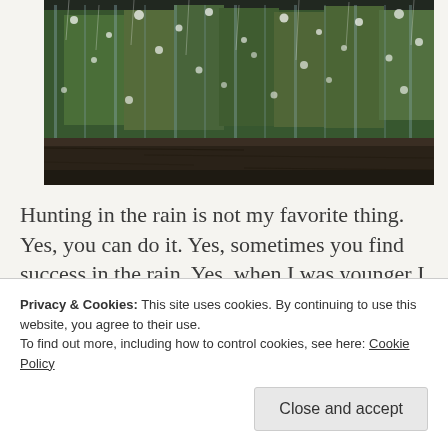[Figure (photo): Close-up photograph of a rain-covered window with water droplets running down glass panes, green foliage visible behind glass, dark wooden frame at bottom]
Hunting in the rain is not my favorite thing. Yes, you can do it. Yes, sometimes you find success in the rain. Yes, when I was younger I once hunted
Privacy & Cookies: This site uses cookies. By continuing to use this website, you agree to their use.
To find out more, including how to control cookies, see here: Cookie Policy
Close and accept